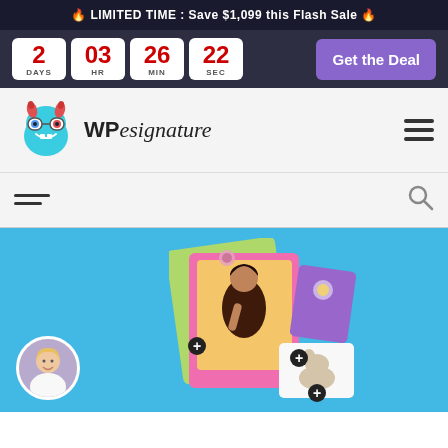🔥 LIMITED TIME: Save $1,099 this Flash Sale 🔥
2 DAYS  03 HR  26 MIN  22 SEC
Get the Deal
[Figure (logo): WP Signature logo with teal monster mascot and stylized text]
[Figure (illustration): Hero illustration showing portrait images/photos with plus buttons on sky blue background, and a circular profile photo of a woman in bottom left]